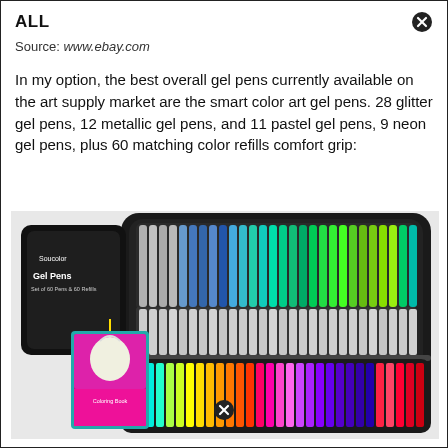ALL
Source: www.ebay.com
In my option, the best overall gel pens currently available on the art supply market are the smart color art gel pens. 28 glitter gel pens, 12 metallic gel pens, and 11 pastel gel pens, 9 neon gel pens, plus 60 matching color refills comfort grip:
[Figure (photo): Photo of a Soucolor gel pens set in a black zippered case, open to show rows of colorful pens. Also shows a coloring book with a unicorn illustration and the pen case packaging. Bottom half shows more colorful pens arranged in the lower section of the case.]